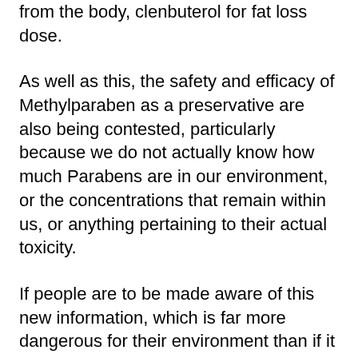from the body, clenbuterol for fat loss dose.
As well as this, the safety and efficacy of Methylparaben as a preservative are also being contested, particularly because we do not actually know how much Parabens are in our environment, or the concentrations that remain within us, or anything pertaining to their actual toxicity.
If people are to be made aware of this new information, which is far more dangerous for their environment than if it becomes a widespread problem, we need a way of informing them, loss clenbuterol effects weight for.
For this reason, I am hoping that with the above, we can ensure that the information is properly communicated to the general public, and help to create a